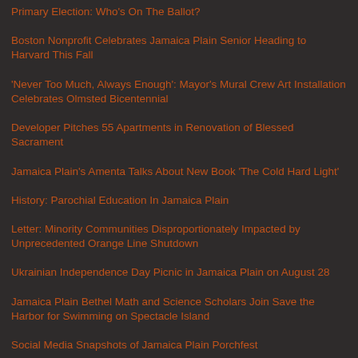Primary Election: Who's On The Ballot?
Boston Nonprofit Celebrates Jamaica Plain Senior Heading to Harvard This Fall
'Never Too Much, Always Enough': Mayor's Mural Crew Art Installation Celebrates Olmsted Bicentennial
Developer Pitches 55 Apartments in Renovation of Blessed Sacrament
Jamaica Plain's Amenta Talks About New Book 'The Cold Hard Light'
History: Parochial Education In Jamaica Plain
Letter: Minority Communities Disproportionately Impacted by Unprecedented Orange Line Shutdown
Ukrainian Independence Day Picnic in Jamaica Plain on August 28
Jamaica Plain Bethel Math and Science Scholars Join Save the Harbor for Swimming on Spectacle Island
Social Media Snapshots of Jamaica Plain Porchfest